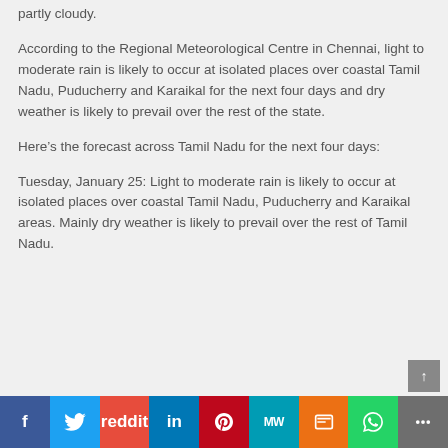partly cloudy.
According to the Regional Meteorological Centre in Chennai, light to moderate rain is likely to occur at isolated places over coastal Tamil Nadu, Puducherry and Karaikal for the next four days and dry weather is likely to prevail over the rest of the state.
Here’s the forecast across Tamil Nadu for the next four days:
Tuesday, January 25: Light to moderate rain is likely to occur at isolated places over coastal Tamil Nadu, Puducherry and Karaikal areas. Mainly dry weather is likely to prevail over the rest of Tamil Nadu.
f  Twitter  Reddit  in  Pinterest  MW  Mix  WhatsApp  More